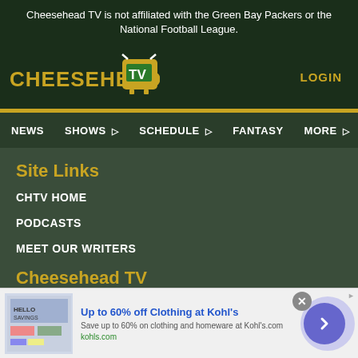Cheesehead TV is not affiliated with the Green Bay Packers or the National Football League.
[Figure (logo): Cheesehead TV logo with yellow text and green TV icon]
LOGIN
NEWS   SHOWS ▸   SCHEDULE ▸   FANTASY   MORE ▸
Site Links
CHTV HOME
PODCASTS
MEET OUR WRITERS
Cheesehead TV
[Figure (infographic): Advertisement banner: Up to 60% off Clothing at Kohl's. Save up to 60% on clothing and homeware at Kohl's.com. kohls.com]